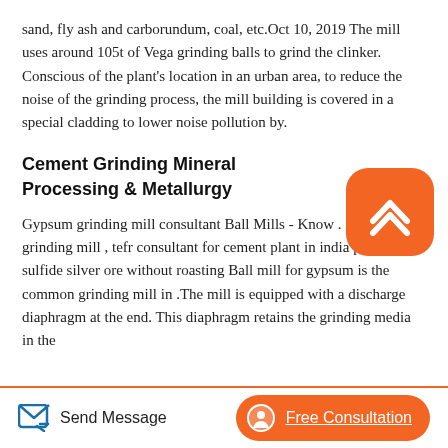sand, fly ash and carborundum, coal, etc.Oct 10, 2019 The mill uses around 105t of Vega grinding balls to grind the clinker. Conscious of the plant's location in an urban area, to reduce the noise of the grinding process, the mill building is covered in a special cladding to lower noise pollution by.
Cement Grinding Mineral Processing & Metallurgy
Gypsum grinding mill consultant Ball Mills - Know . gypsum grinding mill , tefr consultant for cement plant in india process sulfide silver ore without roasting Ball mill for gypsum is the common grinding mill in .The mill is equipped with a discharge diaphragm at the end. This diaphragm retains the grinding media in the
[Figure (logo): Orange rounded square button with white upward chevron/caret icon]
Send Message   Free Consultation